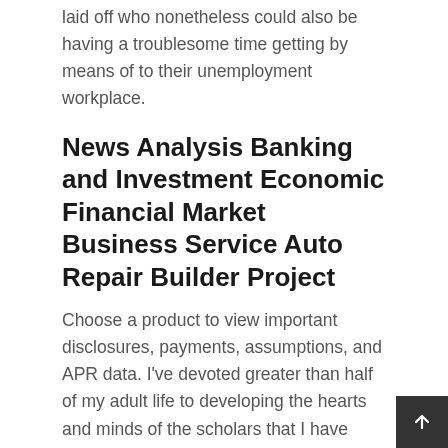laid off who nonetheless could also be having a troublesome time getting by means of to their unemployment workplace.
News Analysis Banking and Investment Economic Financial Market Business Service Auto Repair Builder Project
Choose a product to view important disclosures, payments, assumptions, and APR data. I've devoted greater than half of my adult life to developing the hearts and minds of the scholars that I have taught and presently train, never asking for anything in return besides that they attempt to work with me as greatest they'll, to keep their feet